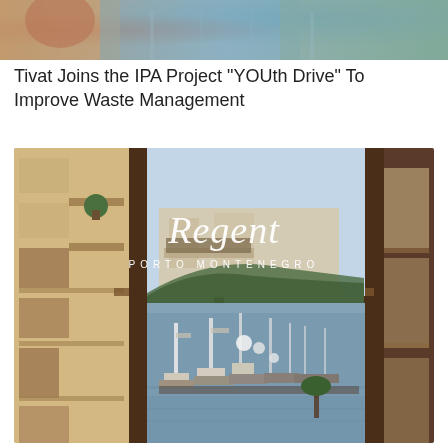[Figure (photo): Top portion of an image, partially cropped, showing what appears to be a person or scene with blue and earth-tone colors]
Tivat Joins the IPA Project "YOUth Drive" To Improve Waste Management
[Figure (photo): Regent Porto Montenegro hotel advertisement photo showing a view through open dark wooden balcony doors/windows looking out onto the marina with yachts and the bay with forested hills. The Regent Porto Montenegro logo and text is overlaid in white italic script on the blue sky portion of the image.]